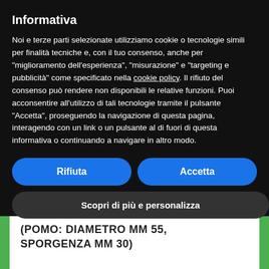Informativa
Noi e terze parti selezionate utilizziamo cookie o tecnologie simili per finalità tecniche e, con il tuo consenso, anche per "miglioramento dell'esperienza", "misurazione" e "targeting e pubblicità" come specificato nella cookie policy. Il rifiuto del consenso può rendere non disponibili le relative funzioni. Puoi acconsentire all'utilizzo di tali tecnologie tramite il pulsante "Accetta", proseguendo la navigazione di questa pagina, interagendo con un link o un pulsante al di fuori di questa informativa o continuando a navigare in altro modo.
Rifiuta
Accetta
Scopri di più e personalizza
(POMO: DIAMETRO MM 55, SPORGENZA MM 30)